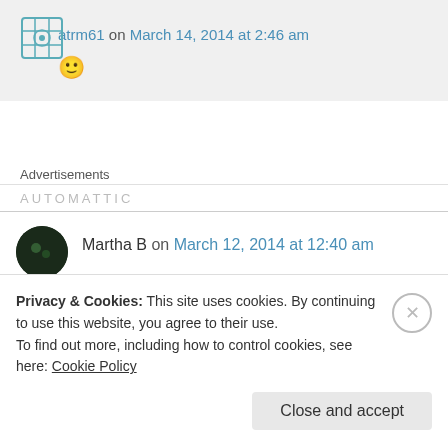atrm61 on March 14, 2014 at 2:46 am
🙂
Advertisements
AUTOMATTIC
Martha B on March 12, 2014 at 12:40 am
Privacy & Cookies: This site uses cookies. By continuing to use this website, you agree to their use.
To find out more, including how to control cookies, see here: Cookie Policy
Close and accept